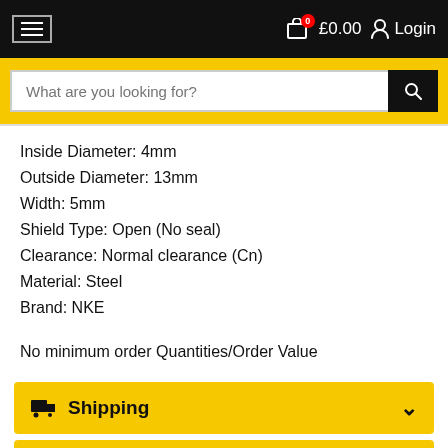☰  £0.00  Login
What are you looking for?
Inside Diameter: 4mm
Outside Diameter: 13mm
Width: 5mm
Shield Type: Open (No seal)
Clearance: Normal clearance (Cn)
Material: Steel
Brand: NKE
No minimum order Quantities/Order Value
Shipping
Recently Viewed